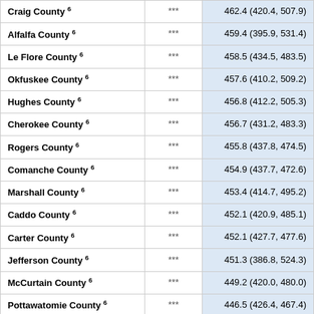| County |  | Value (CI) |
| --- | --- | --- |
| Craig County 6 | *** | 462.4 (420.4, 507.9) |
| Alfalfa County 6 | *** | 459.4 (395.9, 531.4) |
| Le Flore County 6 | *** | 458.5 (434.5, 483.5) |
| Okfuskee County 6 | *** | 457.6 (410.2, 509.2) |
| Hughes County 6 | *** | 456.8 (412.2, 505.3) |
| Cherokee County 6 | *** | 456.7 (431.2, 483.3) |
| Rogers County 6 | *** | 455.8 (437.8, 474.5) |
| Comanche County 6 | *** | 454.9 (437.7, 472.6) |
| Marshall County 6 | *** | 453.4 (414.7, 495.2) |
| Caddo County 6 | *** | 452.1 (420.9, 485.1) |
| Carter County 6 | *** | 452.1 (427.7, 477.6) |
| Jefferson County 6 | *** | 451.3 (386.8, 524.3) |
| McCurtain County 6 | *** | 449.2 (420.0, 480.0) |
| Pottawatomie County 6 | *** | 446.5 (426.4, 467.4) |
| Choctaw County 6 | *** | 444.5 (403.5, 488.7) |
| Washington County 6 | *** | 444.4 (421.7, 468.0) |